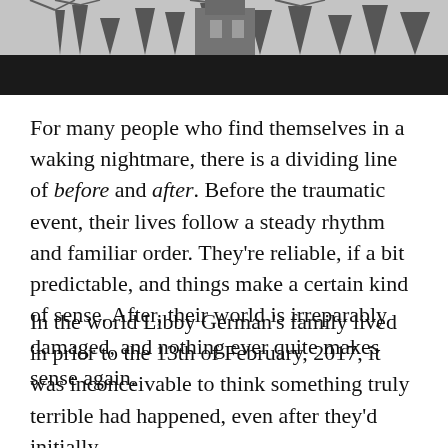[Figure (photo): Black and white photograph of bare trees against a sky, with a structure or building partially visible among the branches.]
For many people who find themselves in a waking nightmare, there is a dividing line of before and after. Before the traumatic event, their lives follow a steady rhythm and familiar order. They're reliable, if a bit predictable, and things make a certain kind of sense. After, their world is irreparably damaged, and nothing ever quite makes sense again.
In the world Libby German's family lived in prior to the 13th of February, 2017, it was inconceivable to think something truly terrible had happened, even after they'd initially realised she'd gone missing. The kids going…